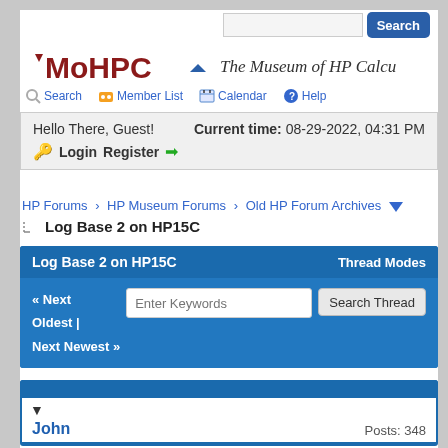MoHPCA - The Museum of HP Calculators
Hello There, Guest! Current time: 08-29-2022, 04:31 PM Login Register
HP Forums › HP Museum Forums › Old HP Forum Archives
Log Base 2 on HP15C
| Log Base 2 on HP15C | Thread Modes |
| --- | --- |
| « Next Oldest | Next Newest » | Enter Keywords | Search Thread |
John   Posts: 348